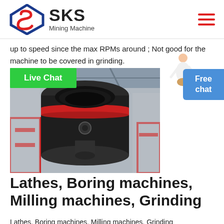SKS Mining Machine
up to speed since the max RPMs around ; Not good for the machine to be covered in grinding.
Live Chat
[Figure (photo): Industrial mining grinding mill machine photographed from below, showing black metal body with red accent band, open feed chute, and industrial building structure in background.]
[Figure (photo): Customer service representative person icon beside a blue Free chat button.]
Lathes, Boring machines, Milling machines, Grinding
Lathes, Boring machines, Milling machines, Grinding